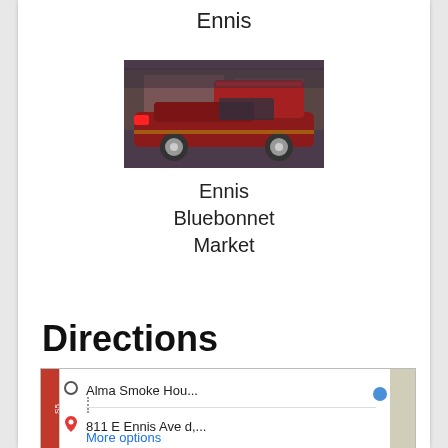Ennis
[Figure (photo): Photo of a dark red classic car with hood open at the Ennis Bluebonnet Market]
Ennis Bluebonnet Market
Directions
[Figure (map): Google Maps snippet showing directions from Alma Smoke Hou... to 811 E Ennis Ave d,... with a More options link]